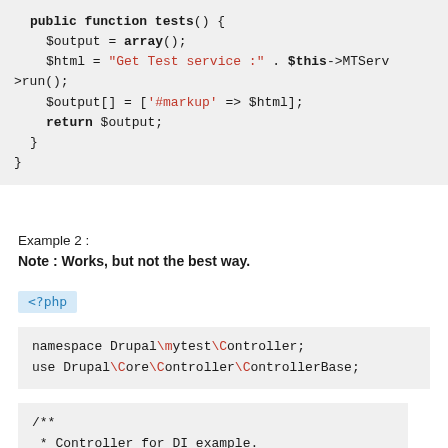public function tests() {
    $output = array();
    $html = "Get Test service :" . $this->MTServ->run();
    $output[] = ['#markup' => $html];
    return $output;
  }
}
Example 2 :
Note : Works, but not the best way.
<?php
namespace Drupal\mytest\Controller;
use Drupal\Core\Controller\ControllerBase;
/**
 * Controller for DI example.